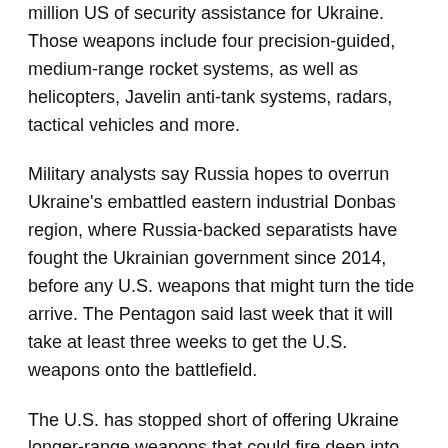million US of security assistance for Ukraine. Those weapons include four precision-guided, medium-range rocket systems, as well as helicopters, Javelin anti-tank systems, radars, tactical vehicles and more.
Military analysts say Russia hopes to overrun Ukraine's embattled eastern industrial Donbas region, where Russia-backed separatists have fought the Ukrainian government since 2014, before any U.S. weapons that might turn the tide arrive. The Pentagon said last week that it will take at least three weeks to get the U.S. weapons onto the battlefield.
The U.S. has stopped short of offering Ukraine longer-range weapons that could fire deep into Russia. But the four medium-range High Mobility Artillery Rocket Systems in the security package include launchers on wheels that allow troops to strike a target and then quickly move away — which could be useful against Russian artillery on the